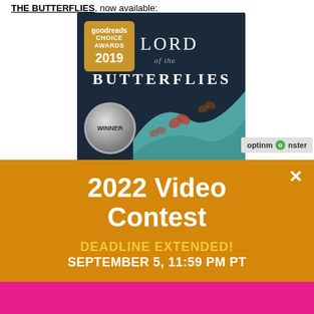THE BUTTERFLIES, now available:
[Figure (photo): Book cover for 'Lord of the Butterflies' by Andrea Gibson, winner of Goodreads Choice Awards 2019, shown with a dark background and decorative wave/butterfly design at bottom]
[Figure (screenshot): OptinMonster popup overlay on orange background showing '2022 Video Contest', 'DEADLINE EXTENDED!', 'SEPTEMBER 5, 11:59 PM PT', and a PayPal submit button on a pink strip]
2022 Video Contest
DEADLINE EXTENDED!
SEPTEMBER 5, 11:59 PM PT